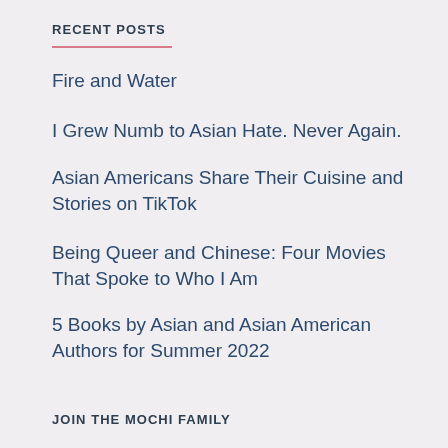RECENT POSTS
Fire and Water
I Grew Numb to Asian Hate. Never Again.
Asian Americans Share Their Cuisine and Stories on TikTok
Being Queer and Chinese: Four Movies That Spoke to Who I Am
5 Books by Asian and Asian American Authors for Summer 2022
JOIN THE MOCHI FAMILY